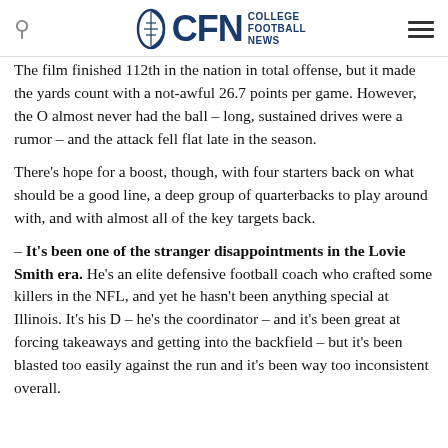CFN College Football News
The film finished 112th in the nation in total offense, but it made the yards count with a not-awful 26.7 points per game. However, the O almost never had the ball – long, sustained drives were a rumor – and the attack fell flat late in the season.
There's hope for a boost, though, with four starters back on what should be a good line, a deep group of quarterbacks to play around with, and with almost all of the key targets back.
– It's been one of the stranger disappointments in the Lovie Smith era. He's an elite defensive football coach who crafted some killers in the NFL, and yet he hasn't been anything special at Illinois. It's his D – he's the coordinator – and it's been great at forcing takeaways and getting into the backfield – but it's been blasted too easily against the run and it's been way too inconsistent overall.